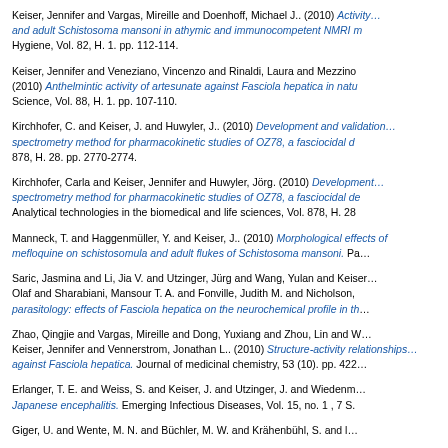Keiser, Jennifer and Vargas, Mireille and Doenhoff, Michael J.. (2010) Activity of mefloquine and adult Schistosoma mansoni in athymic and immunocompetent NMRI m... Hygiene, Vol. 82, H. 1. pp. 112-114.
Keiser, Jennifer and Veneziano, Vincenzo and Rinaldi, Laura and Mezzino... (2010) Anthelmintic activity of artesunate against Fasciola hepatica in natu... Science, Vol. 88, H. 1. pp. 107-110.
Kirchhofer, C. and Keiser, J. and Huwyler, J.. (2010) Development and val... spectrometry method for pharmacokinetic studies of OZ78, a fasciocidal d... 878, H. 28. pp. 2770-2774.
Kirchhofer, Carla and Keiser, Jennifer and Huwyler, Jörg. (2010) Developm... spectrometry method for pharmacokinetic studies of OZ78, a fasciocidal de... Analytical technologies in the biomedical and life sciences, Vol. 878, H. 28
Manneck, T. and Haggenmüller, Y. and Keiser, J.. (2010) Morphological eff... mefloquine on schistosomula and adult flukes of Schistosoma mansoni. Pa...
Saric, Jasmina and Li, Jia V. and Utzinger, Jürg and Wang, Yulan and Keis... Olaf and Sharabiani, Mansour T. A. and Fonville, Judith M. and Nicholson,... parasitology: effects of Fasciola hepatica on the neurochemical profile in th...
Zhao, Qingjie and Vargas, Mireille and Dong, Yuxiang and Zhou, Lin and W... Keiser, Jennifer and Vennerstrom, Jonathan L.. (2010) Structure-activity re... against Fasciola hepatica. Journal of medicinal chemistry, 53 (10). pp. 422...
Erlanger, T. E. and Weiss, S. and Keiser, J. and Utzinger, J. and Wiedenm... Japanese encephalitis. Emerging Infectious Diseases, Vol. 15, no. 1 , 7 S.
Giger, U. and Wente, M. N. and Büchler, M. W. and Krähenbühl, S. and ...